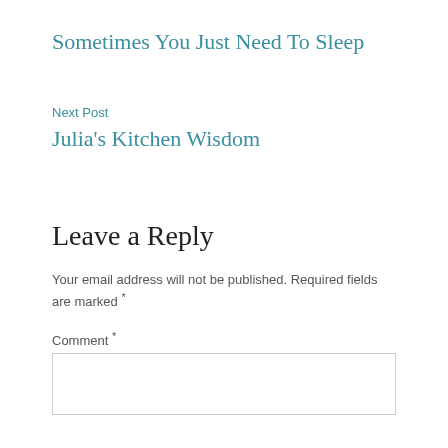Sometimes You Just Need To Sleep
Next Post
Julia's Kitchen Wisdom
Leave a Reply
Your email address will not be published. Required fields are marked *
Comment *